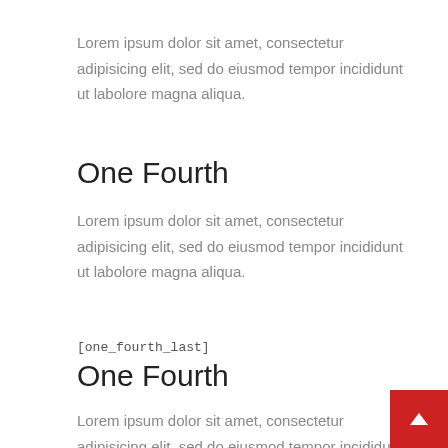Lorem ipsum dolor sit amet, consectetur adipisicing elit, sed do eiusmod tempor incididunt ut labolore magna aliqua.
One Fourth
Lorem ipsum dolor sit amet, consectetur adipisicing elit, sed do eiusmod tempor incididunt ut labolore magna aliqua.
[one_fourth_last]
One Fourth
Lorem ipsum dolor sit amet, consectetur adipisicing elit, sed do eiusmod tempor incididunt